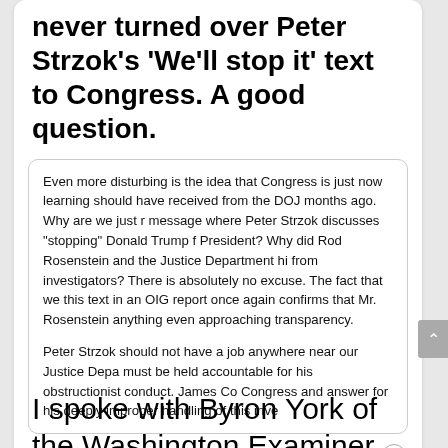never turned over Peter Strzok's 'We'll stop it' text to Congress. A good question.
Even more disturbing is the idea that Congress is just now learning should have received from the DOJ months ago. Why are we just message where Peter Strzok discusses "stopping" Donald Trump f President? Why did Rod Rosenstein and the Justice Department hi from investigators? There is absolutely no excuse. The fact that we this text in an OIG report once again confirms that Mr. Rosenstein anything even approaching transparency.

Peter Strzok should not have a job anywhere near our Justice Depa must be held accountable for his obstructionist conduct. James Co Congress and answer for his deeply improper handling of this inve
6:32 PM · Jun 14, 2018
429  Reply  Copy link
Read 38 replies
I spoke with Byron York of the Washington Examiner just hours after